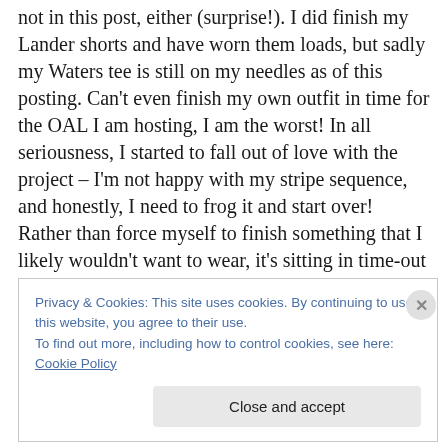not in this post, either (surprise!). I did finish my Lander shorts and have worn them loads, but sadly my Waters tee is still on my needles as of this posting. Can't even finish my own outfit in time for the OAL I am hosting, I am the worst! In all seriousness, I started to fall out of love with the project – I'm not happy with my stripe sequence, and honestly, I need to frog it and start over! Rather than force myself to finish something that I likely wouldn't want to wear, it's sitting in time-out until I can be sure that I need to either frog it or finish it. I don't like keeping UFOs, but sometimes you need a breather to think about your
Privacy & Cookies: This site uses cookies. By continuing to use this website, you agree to their use.
To find out more, including how to control cookies, see here: Cookie Policy
Close and accept